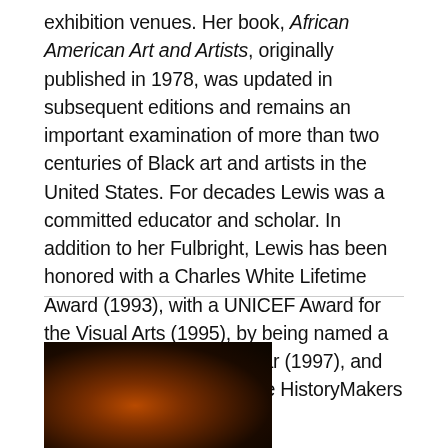exhibition venues. Her book, African American Art and Artists, originally published in 1978, was updated in subsequent editions and remains an important examination of more than two centuries of Black art and artists in the United States. For decades Lewis was a committed educator and scholar. In addition to her Fulbright, Lewis has been honored with a Charles White Lifetime Award (1993), with a UNICEF Award for the Visual Arts (1995), by being named a Getty Distinguished Scholar (1997), and by being interviewed by the HistoryMakers Archives (2003).
[Figure (photo): Dark, dimly lit photograph of a person, showing warm amber/orange tones against a very dark background, partially visible at the bottom of the page.]